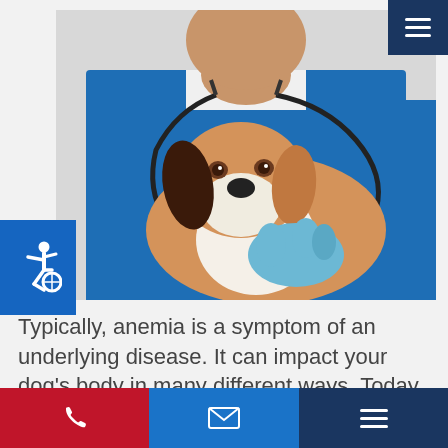[Figure (photo): Veterinarian in blue scrubs with stethoscope examining a beagle dog, wearing blue medical gloves, with a light gray background.]
Typically, anemia is a symptom of an underlying disease. It can impact your dog’s body in many different ways. Today, our Baltimore vets explain how we treat anemia in